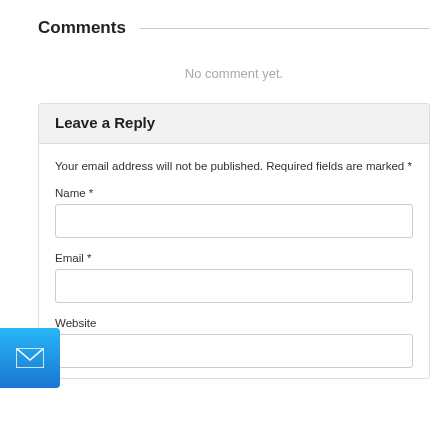Comments
No comment yet.
Leave a Reply
Your email address will not be published. Required fields are marked *
Name *
Email *
Website